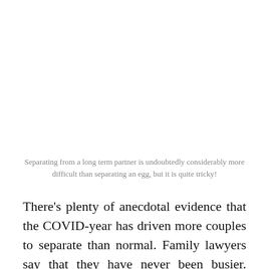Separating from a long term partner is undoubtedly considerably more difficult than separating an egg, but it is quite tricky!
There's plenty of anecdotal evidence that the COVID-year has driven more couples to separate than normal. Family lawyers say that they have never been busier. They were already reporting a deluge back in August 2020 and it hasn't ended yet. This doesn't seem too surprising from a psychological perspective...